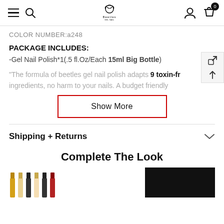Beetles — navigation bar with menu, search, logo, user account, and cart (0 items)
COLOR NUMBER:a248
PACKAGE INCLUDES:
-Gel Nail Polish*1(.5 fl.Oz/Each 15ml Big Bottle)
"The formula of beetles gel nail polish adapts 9 toxin-fr ingredients, no harm to your nails. A budget friendly
Show More
Shipping + Returns
Complete The Look
[Figure (photo): Row of nail polish bottles in various colors (gold, black, red, cream) with a black block on the right side]